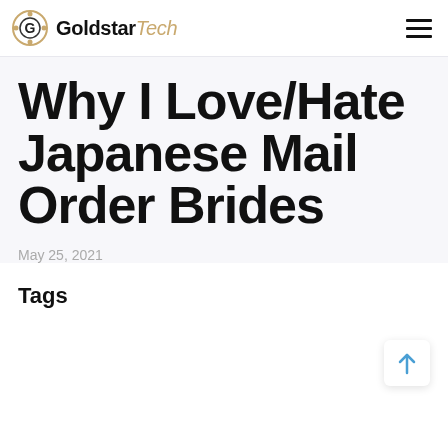GoldstarTech
Why I Love/Hate Japanese Mail Order Brides
May 25, 2021
Tags